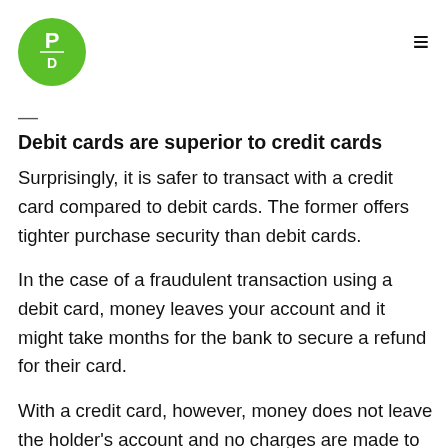PD logo and navigation
Debit cards are superior to credit cards
Surprisingly, it is safer to transact with a credit card compared to debit cards. The former offers tighter purchase security than debit cards.
In the case of a fraudulent transaction using a debit card, money leaves your account and it might take months for the bank to secure a refund for their card.
With a credit card, however, money does not leave the holder's account and no charges are made to the lost